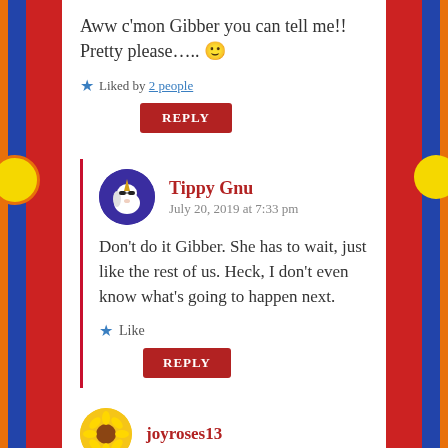Aww c'mon Gibber you can tell me!! Pretty please….. 🙂
★ Liked by 2 people
REPLY
Tippy Gnu
July 20, 2019 at 7:33 pm
Don't do it Gibber. She has to wait, just like the rest of us. Heck, I don't even know what's going to happen next.
★ Like
REPLY
joyroses13